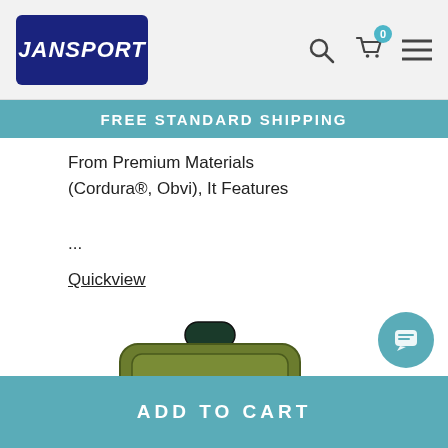[Figure (logo): JanSport logo on dark blue rounded rectangle background]
FREE STANDARD SHIPPING
From Premium Materials (Cordura®, Obvi), It Features
...
Quickview
[Figure (photo): Olive green JanSport backpack with leather diamond logo patch and teal handle]
ADD TO CART